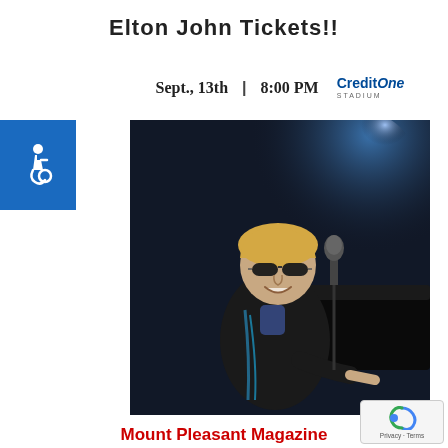Elton John Tickets!!
Sept., 13th | 8:00 PM  CreditOne STADIUM
[Figure (photo): Elton John performing at piano on stage, wearing dark jacket with decorative pattern and dark sunglasses, smiling, with microphone in front of him]
Mount Pleasant Magazine wants to spread some LOVE!!
Click to register
www.MountPleasantMagazine.com/Elton-John